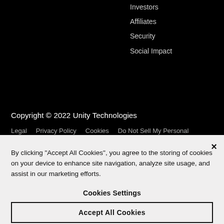Investors
Affiliates
Security
Social Impact
Copyright © 2022 Unity Technologies
Legal    Privacy Policy    Cookies    Do Not Sell My Personal
By clicking “Accept All Cookies”, you agree to the storing of cookies on your device to enhance site navigation, analyze site usage, and assist in our marketing efforts.
Cookies Settings
Accept All Cookies